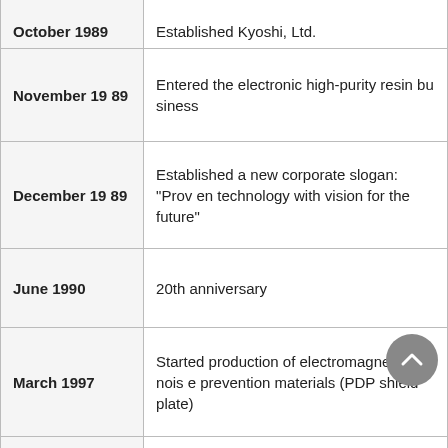| Date | Event |
| --- | --- |
| October 1989 (partial) | Established Kyoshi, Ltd. (partial) |
| November 1989 | Entered the electronic high-purity resin business |
| December 1989 | Established a new corporate slogan: “Proven technology with vision for the future” |
| June 1990 | 20th anniversary |
| March 1997 | Started production of electromagnetic noise prevention materials (PDP shield plate) |
| February 1998 | Entered the laminate bus bar business |
| October 1999 (partial) | Changed the name of “Nagoya Sales Office (partial) |